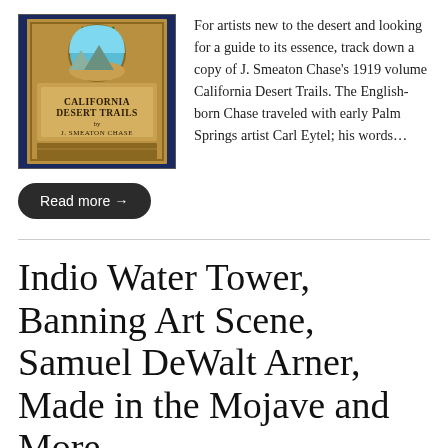[Figure (photo): Book cover of California Desert Trails by J. Smeaton Chase, with a circular illustration at the top showing a desert scene with a palm tree, set against a blue background. The cover has ornate golden/tan decorative elements and text reading 'CALIFORNIA DESERT TRAILS by J. SMEATON CHASE'.]
For artists new to the desert and looking for a guide to its essence, track down a copy of J. Smeaton Chase's 1919 volume California Desert Trails. The English-born Chase traveled with early Palm Springs artist Carl Eytel; his words…
Read more →
Indio Water Tower, Banning Art Scene, Samuel DeWalt Arner, Made in the Mojave and More
by Ann Japenga • 2 Comments